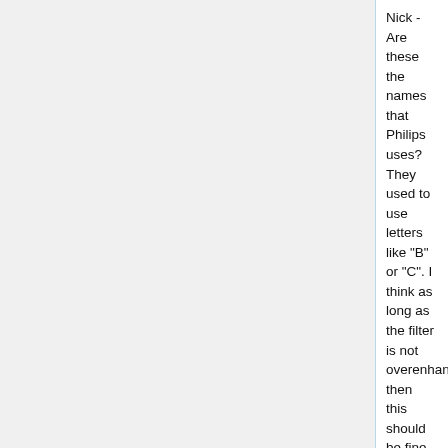Nick - Are these the names that Philips uses? They used to use letters like "B" or "C". I think as long as the filter is not overenhancing, then this should be fine. I can't tell too much difference in the images, so differences look small (even the streaks look similar - overenhancing filters would change their appearance quite a bit). Mike
Q2: 2009-02-06 Please select output format for 1A reader study 3D segmentations
3D Data formats
Syntext of 3D Doctor Text Format:
Slice number
x1 y1
x2 y2
x3 y3